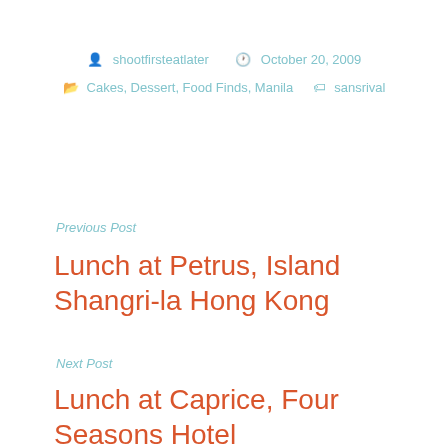shootfirsteatlater   October 20, 2009
Cakes, Dessert, Food Finds, Manila   sansrival
Previous Post
Lunch at Petrus, Island Shangri-la Hong Kong
Next Post
Lunch at Caprice, Four Seasons Hotel